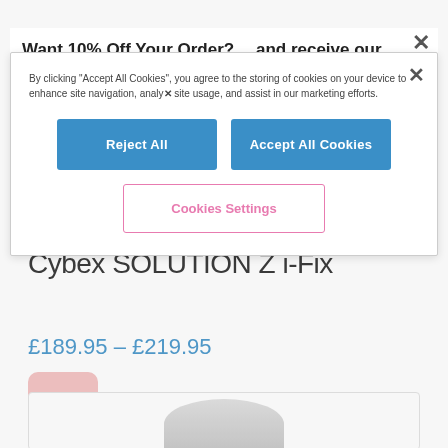Want 10% Off Your Order?… and receive our latest offers!
By clicking "Accept All Cookies", you agree to the storing of cookies on your device to enhance site navigation, analyse site usage, and assist in our marketing efforts.
Reject All
Accept All Cookies
Cookies Settings
Cybex SOLUTION Z i-Fix
£189.95 – £219.95